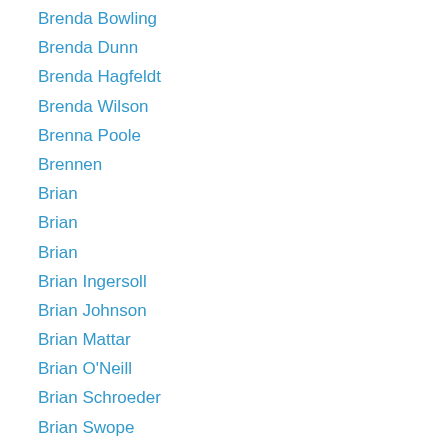Brenda Bowling
Brenda Dunn
Brenda Hagfeldt
Brenda Wilson
Brenna Poole
Brennen
Brian
Brian
Brian
Brian Ingersoll
Brian Johnson
Brian Mattar
Brian O'Neill
Brian Schroeder
Brian Swope
Brian W. Sharp
Brianna
Brianna Lopez
Brianna Williams
Bridget Prictor